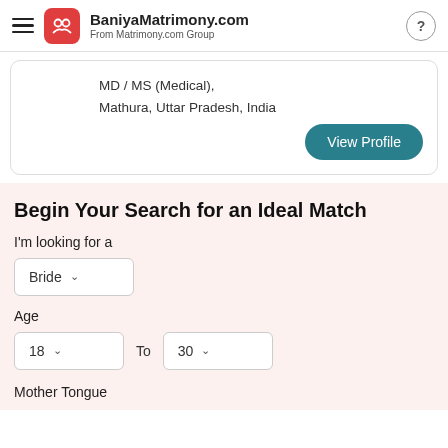BaniyaMatrimony.com
From Matrimony.com Group
MD / MS (Medical),
Mathura, Uttar Pradesh, India
View Profile
Begin Your Search for an Ideal Match
I'm looking for a
Bride
Age
18   To   30
Mother Tongue